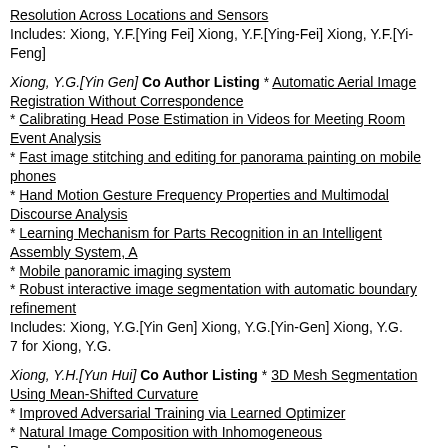Resolution Across Locations and Sensors
Includes: Xiong, Y.F.[Ying Fei] Xiong, Y.F.[Ying-Fei] Xiong, Y.F.[Yi-Feng]
Xiong, Y.G.[Yin Gen] Co Author Listing * Automatic Aerial Image Registration Without Correspondence
* Calibrating Head Pose Estimation in Videos for Meeting Room Event Analysis
* Fast image stitching and editing for panorama painting on mobile phones
* Hand Motion Gesture Frequency Properties and Multimodal Discourse Analysis
* Learning Mechanism for Parts Recognition in an Intelligent Assembly System, A
* Mobile panoramic imaging system
* Robust interactive image segmentation with automatic boundary refinement
Includes: Xiong, Y.G.[Yin Gen] Xiong, Y.G.[Yin-Gen] Xiong, Y.G.
7 for Xiong, Y.G.
Xiong, Y.H.[Yun Hui] Co Author Listing * 3D Mesh Segmentation Using Mean-Shifted Curvature
* Improved Adversarial Training via Learned Optimizer
* Natural Image Composition with Inhomogeneous Boundaries